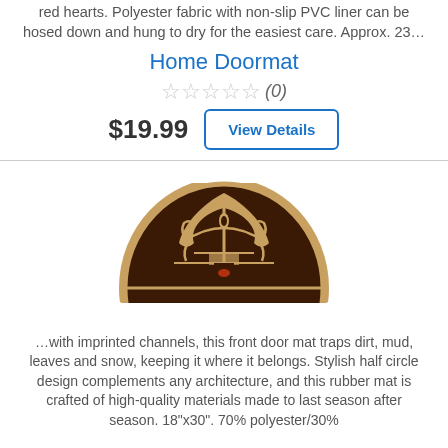red hearts. Polyester fabric with non-slip PVC liner can be hosed down and hung to dry for the easiest care. Approx. 23…
Home Doormat
☆ ☆ ☆ ☆ ☆ (0)
$19.99  View Details
[Figure (photo): A semi-circular decorative doormat with ornate ironwork-style pattern in dark brown and copper/tan colors.]
…with imprinted channels, this front door mat traps dirt, mud, leaves and snow, keeping it where it belongs. Stylish half circle design complements any architecture, and this rubber mat is crafted of high-quality materials made to last season after season. 18"x30". 70% polyester/30%...